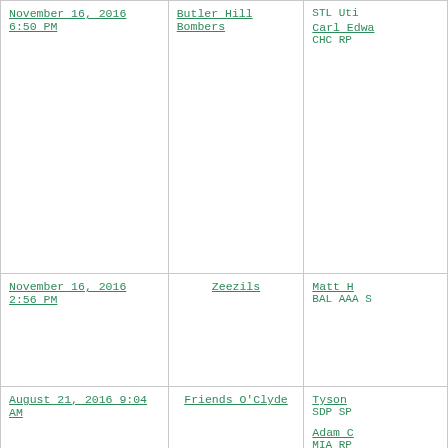| Date | Team | Players |
| --- | --- | --- |
| November 16, 2016 6:50 PM | Butler Hill Bombers | STL Uti
Carl Edwa
CHC RP |
| November 16, 2016 2:56 PM | Zeezils | Matt H
BAL AAA S |
| August 21, 2016 9:04 AM | Friends O'Clyde | Tyson
SDP SP
Adam C
MIA RP
Cody Bel
LAD OF L
Mickey
PHI OF L
$8 1 |
|  |  | Tyson
SDP SP |